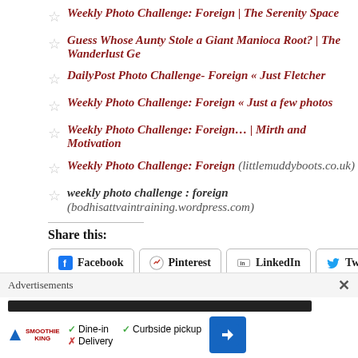Weekly Photo Challenge: Foreign | The Serenity Space
Guess Whose Aunty Stole a Giant Manioca Root? | The Wanderlust Ge…
DailyPost Photo Challenge- Foreign « Just Fletcher
Weekly Photo Challenge: Foreign « Just a few photos
Weekly Photo Challenge: Foreign… | Mirth and Motivation
Weekly Photo Challenge: Foreign (littlemuddyboots.co.uk)
weekly photo challenge : foreign (bodhisattvaintraining.wordpress.com)
Share this:
Facebook Pinterest LinkedIn Twitter Email
Like this:
[Figure (screenshot): Like button with star icon, plus avatar thumbnails of users who liked the post]
Advertisements
[Figure (screenshot): Advertisement overlay showing Smoothie King ad with Dine-in, Curbside pickup, Delivery options and navigation icon]